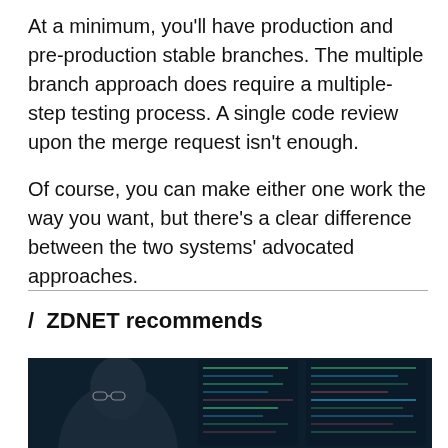At a minimum, you'll have production and pre-production stable branches. The multiple branch approach does require a multiple-step testing process. A single code review upon the merge request isn't enough.
Of course, you can make either one work the way you want, but there's a clear difference between the two systems' advocated approaches.
/ ZDNET recommends
[Figure (photo): A person wearing glasses looking at multiple monitors displaying code in a dark environment]